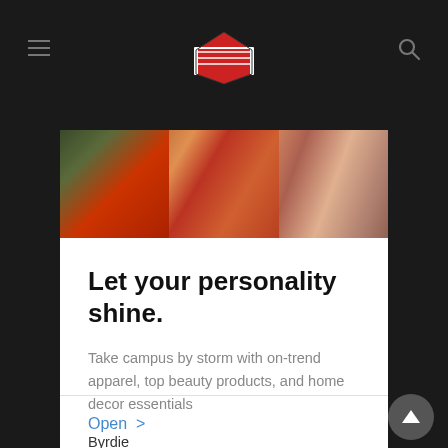WWE app header with hamburger menu, logo, and search icon
[Figure (photo): Photo strip showing fashion/apparel items: colorful clothing and accessories]
Let your personality shine.
Take campus by storm with on-trend apparel, top beauty products, and home decor essentials
Byrdie
Open >